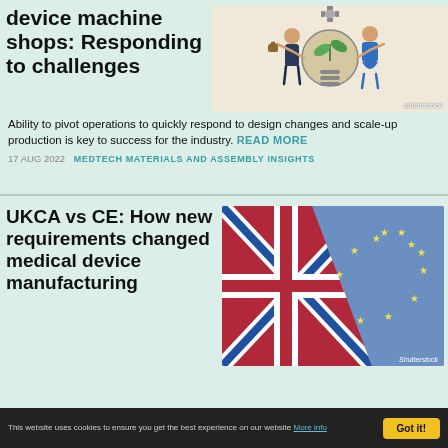device machine shops: Responding to challenges
[Figure (illustration): Illustration of two people holding up a glowing light bulb with a plant inside, representing innovation in medical device manufacturing. Shutterstock watermark.]
Ability to pivot operations to quickly respond to design changes and scale-up production is key to success for the industry. READ MORE
17 AUG 2022   MEDTECH MATERIALS AND ASSEMBLY INSIGHTS
UKCA vs CE: How new requirements changed medical device manufacturing
[Figure (photo): Photo of UK Union Jack flag and EU circle of stars flag torn apart diagonally, symbolizing Brexit impact on medical device certification. Shutterstock watermark.]
This website uses cookies to ensure you get the best experience on our website More info
Got it!